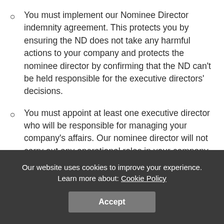You must implement our Nominee Director indemnity agreement. This protects you by ensuring the ND does not take any harmful actions to your company and protects the nominee director by confirming that the ND can't be held responsible for the executive directors' decisions.
You must appoint at least one executive director who will be responsible for managing your company's affairs. Our nominee director will not carry out any operational roles in your company.
You must keep us adequately appraised of the activities of your business.
You must ensure your company follows all relevant
Our website uses cookies to improve your experience. Learn more about: Cookie Policy